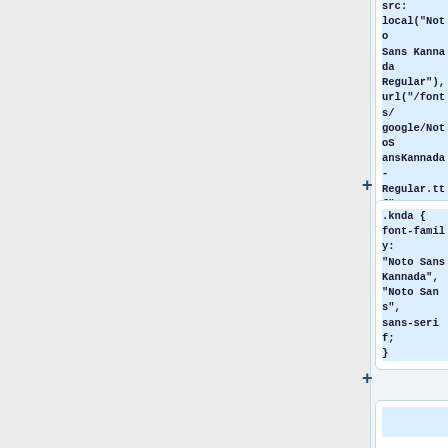[Figure (screenshot): Code editor screenshot showing CSS @font-face rule with src: local('Noto Sans Kannada Regular'), url('/fonts/google/NotoSansKannada-Regular.ttf'); font-display: swap; } followed by a .knda { font-family: 'Noto Sans Kannada', 'Noto Sans', sans-serif; } CSS rule block, and a partially visible third code block. Plus (+) icons appear to the left of code blocks.]